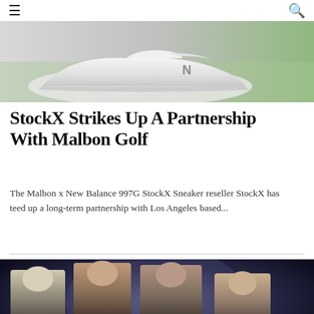☰  🔍
[Figure (photo): Top portion of a sneaker photo — appears to be a New Balance 997G white sneaker on grass background]
StockX Strikes Up A Partnership With Malbon Golf
The Malbon x New Balance 997G StockX Sneaker reseller StockX has teed up a long-term partnership with Los Angeles based...
[Figure (photo): Photo of four men dressed in black leather jackets posed together against a light blue/grey background — appears to be the band Duran Duran]